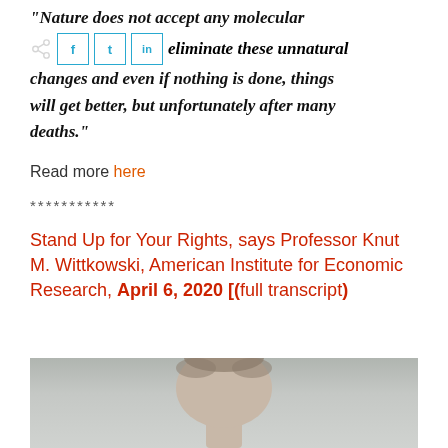“Nature does not accept any molecular … eliminate these unnatural changes and even if nothing is done, things will get better, but unfortunately after many deaths.”
Read more here
***********
Stand Up for Your Rights, says Professor Knut M. Wittkowski, American Institute for Economic Research, April 6, 2020 [(full transcript)
[Figure (photo): Portrait photo of a person, showing top of head and face, against a light grey background]